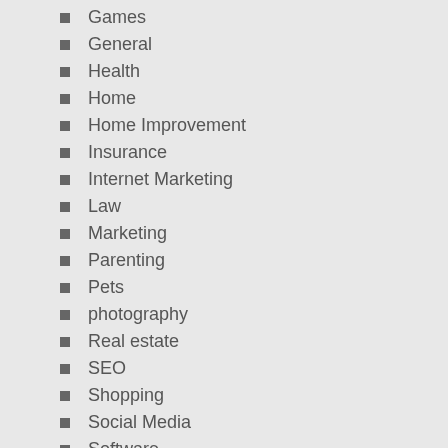Games
General
Health
Home
Home Improvement
Insurance
Internet Marketing
Law
Marketing
Parenting
Pets
photography
Real estate
SEO
Shopping
Social Media
Software